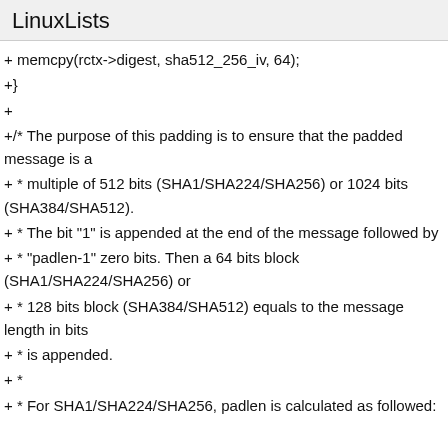LinuxLists
+ memcpy(rctx->digest, sha512_256_iv, 64);
+}
+
+/* The purpose of this padding is to ensure that the padded message is a
+ * multiple of 512 bits (SHA1/SHA224/SHA256) or 1024 bits (SHA384/SHA512).
+ * The bit "1" is appended at the end of the message followed by
+ * "padlen-1" zero bits. Then a 64 bits block (SHA1/SHA224/SHA256) or
+ * 128 bits block (SHA384/SHA512) equals to the message length in bits
+ * is appended.
+ *
+ * For SHA1/SHA224/SHA256, padlen is calculated as followed: